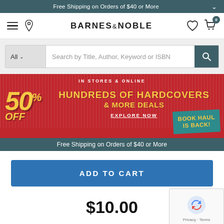Free Shipping on Orders of $40 or More
[Figure (logo): Barnes & Noble logo with hamburger menu, location pin, heart icon, and cart icon with 0 badge]
[Figure (screenshot): Search bar with 'All' category dropdown and placeholder text 'Search by Title, Author, Keyword or ISBN' with teal search button]
[Figure (infographic): Red promotional banner: 'IN STORES & ONLINE - 50% OFF HUNDREDS OF HARDCOVERS & MORE DEALS - EXPLORE NOW - BOOK HAUL IS BACK!']
Free Shipping on Orders of $40 or More
[Figure (screenshot): Blue ADD TO CART button]
$10.00